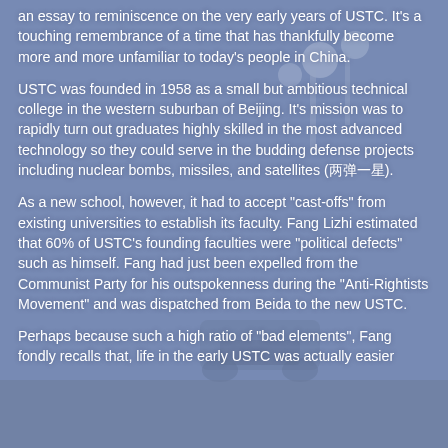an essay to reminiscence on the very early years of USTC. It's a touching remembrance of a time that has thankfully become more and more unfamiliar to today's people in China.
USTC was founded in 1958 as a small but ambitious technical college in the western suburban of Beijing. It's mission was to rapidly turn out graduates highly skilled in the most advanced technology so they could serve in the budding defense projects including nuclear bombs, missiles, and satellites (两弹一星).
As a new school, however, it had to accept "cast-offs" from existing universities to establish its faculty. Fang Lizhi estimated that 60% of USTC's founding faculties were "political defects" such as himself. Fang had just been expelled from the Communist Party for his outspokenness during the "Anti-Rightists Movement" and was dispatched from Beida to the new USTC.
Perhaps because such a high ratio of "bad elements", Fang fondly recalls that, life in the early USTC was actually easier